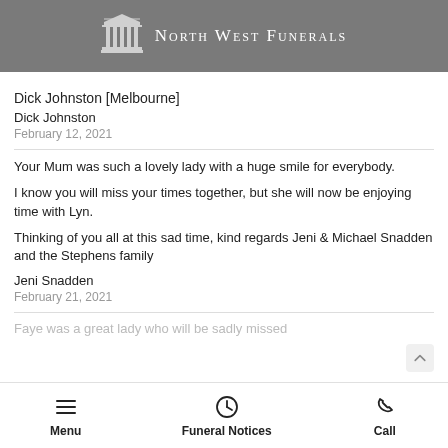[Figure (logo): North West Funerals logo with building/pillars icon and text]
Dick Johnston [Melbourne]
Dick Johnston
February 12, 2021
Your Mum was such a lovely lady with a huge smile for everybody.
I know you will miss your times together, but she will now be enjoying time with Lyn.
Thinking of you all at this sad time, kind regards Jeni & Michael Snadden and the Stephens family
Jeni Snadden
February 21, 2021
Faye was a great lady who will be sadly missed
Menu   Funeral Notices   Call